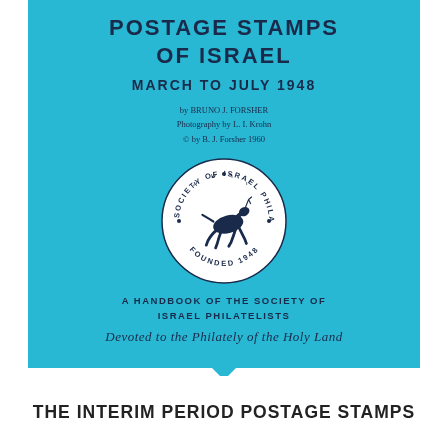POSTAGE STAMPS OF ISRAEL
MARCH TO JULY 1948
by BRUNO J. FORSHER
Photography by L. I. Krohn
© by B. J. Forsher 1960
[Figure (logo): Circular seal of the Society of Israel Philatelists featuring a leaping deer/gazelle in the center, with text around the border reading 'SOCIETY OF ISRAEL PHILATELISTS' and 'FOUNDED 1948']
A HANDBOOK OF THE SOCIETY OF ISRAEL PHILATELISTS
Devoted to the Philately of the Holy Land
THE INTERIM PERIOD POSTAGE STAMPS